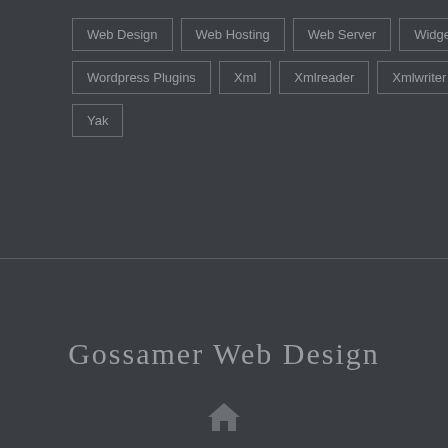Web Design
Web Hosting
Web Server
Widget
Wordpress Plugins
Xml
Xmlreader
Xmlwriter
Yak
Gossamer Web Design
[Figure (infographic): Home icon at the bottom of the page]